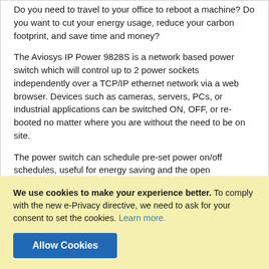Do you need to travel to your office to reboot a machine? Do you want to cut your energy usage, reduce your carbon footprint, and save time and money?
The Aviosys IP Power 9828S is a network based power switch which will control up to 2 power sockets independently over a TCP/IP ethernet network via a web browser. Devices such as cameras, servers, PCs, or industrial applications can be switched ON, OFF, or rebooted no matter where you are without the need to be on site.
The power switch can schedule pre-set power on/off schedules, useful for energy saving and the open architecture means the switch can be modified (SDK provided) to suit your own applications. This device has CE approval and is fully ROHS Compliant.
Features of the IP Power 9828...
We use cookies to make your experience better. To comply with the new e-Privacy directive, we need to ask for your consent to set the cookies. Learn more.
Allow Cookies